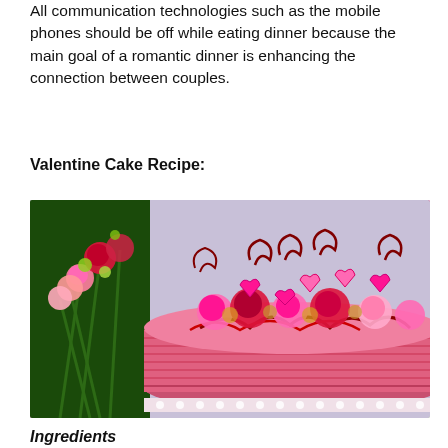All communication technologies such as the mobile phones should be off while eating dinner because the main goal of a romantic dinner is enhancing the connection between couples.
Valentine Cake Recipe:
[Figure (photo): A Valentine's Day cake decorated with pink and red frosting in horizontal ridged pattern, topped with pink and red carnation flowers, pink heart-shaped chocolate decorations, and red chocolate drizzle. A bouquet of carnations in green, pink, and red is visible to the left of the cake. Background is light lavender/purple.]
Ingredients